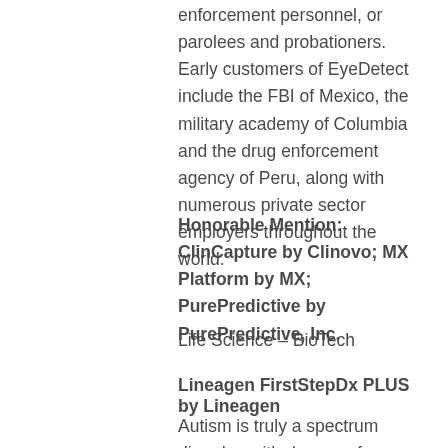enforcement personnel, or parolees and probationers. Early customers of EyeDetect include the FBI of Mexico, the military academy of Columbia and the drug enforcement agency of Peru, along with numerous private sector employers throughout the world.
Honorable Mention: ClinCapture by Clinovo; MX Platform by MX; PurePredictive by PurePredictive, Inc.
Life Science – BioTech
Lineagen FirstStepDx PLUS by Lineagen
Autism is truly a spectrum disorder, with dozens of genetic variants leading to